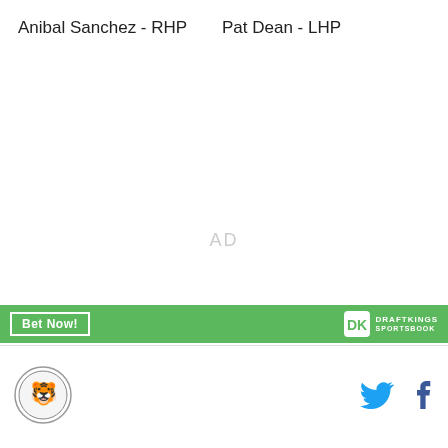Anibal Sanchez - RHP
Pat Dean - LHP
AD
[Figure (other): DraftKings Sportsbook advertisement banner with green background, Bet Now button, and DraftKings logo]
[Figure (logo): Site logo - circular badge with tiger illustration]
[Figure (other): Twitter bird icon in blue]
[Figure (other): Facebook f icon in dark blue]